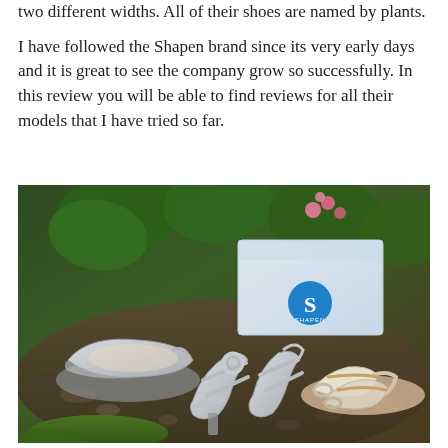two different widths. All of their shoes are named by plants.
I have followed the Shapen brand since its very early days and it is great to see the company grow so successfully. In this review you will be able to find reviews for all their models that I have tried so far.
[Figure (photo): Photo of three pairs of silver/neutral Shapen brand shoes arranged on rocky ground with grass and pink flowers. A white Shapen shoe box with a blue circular logo is visible in the background. The shoes include a ballet flat, strappy heeled sandals, and flat toe-ring sandals.]